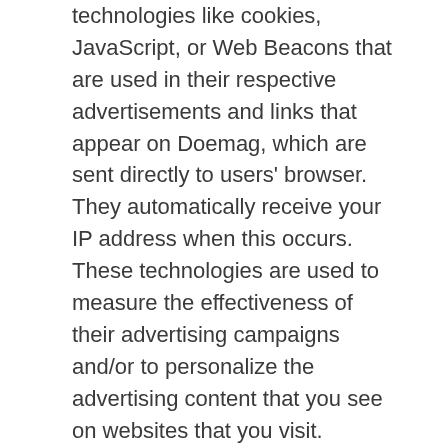technologies like cookies, JavaScript, or Web Beacons that are used in their respective advertisements and links that appear on Doemag, which are sent directly to users' browser. They automatically receive your IP address when this occurs. These technologies are used to measure the effectiveness of their advertising campaigns and/or to personalize the advertising content that you see on websites that you visit.
Note that Doemag has no access to or control over these cookies that are used by third-party advertisers.
Third Party Privacy Policies
Doemag's Privacy Policy does not apply to other advertisers or websites. Thus, we are advising you